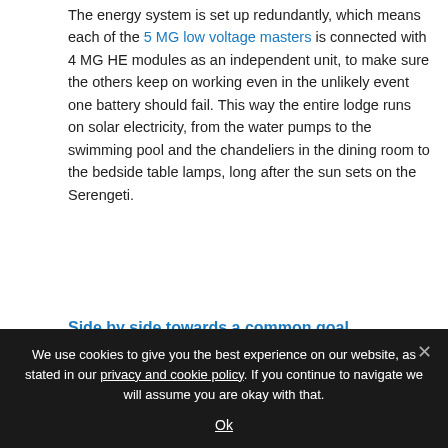The energy system is set up redundantly, which means each of the 5 MG low voltage masters is connected with 4 MG HE modules as an independent unit, to make sure the others keep on working even in the unlikely event one battery should fail. This way the entire lodge runs on solar electricity, from the water pumps to the swimming pool and the chandeliers in the dining room to the bedside table lamps, long after the sun sets on the Serengeti.
Side by side towards a common goal
It's a steep learning curve to bridge the
[Figure (photo): A person examining or working on electrical wiring/cables mounted on a white wall or panel. Orange cables and blue electrical components are visible. Another person in a hard hat is partially visible in the background.]
We use cookies to give you the best experience on our website, as stated in our privacy and cookie policy. If you continue to navigate we will assume you are okay with that.
Ok